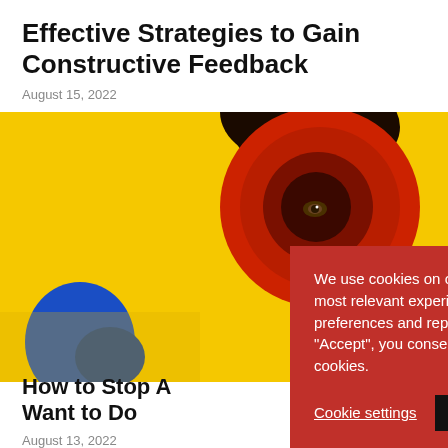Effective Strategies to Gain Constructive Feedback
August 15, 2022
[Figure (photo): Person holding a red megaphone with a yellow background, eye visible through the megaphone opening, blue object at lower left]
How to Stop A Want to Do
August 13, 2022
We use cookies on our website to give you the most relevant experience by remembering your preferences and repeat visits. By clicking "Accept", you consent to the use of ALL the cookies.
Cookie settings   ACCEPT